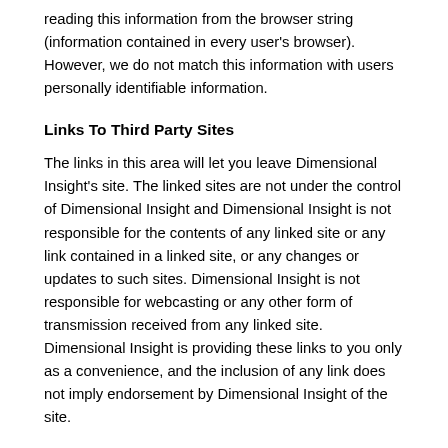reading this information from the browser string (information contained in every user's browser). However, we do not match this information with users personally identifiable information.
Links To Third Party Sites
The links in this area will let you leave Dimensional Insight's site. The linked sites are not under the control of Dimensional Insight and Dimensional Insight is not responsible for the contents of any linked site or any link contained in a linked site, or any changes or updates to such sites. Dimensional Insight is not responsible for webcasting or any other form of transmission received from any linked site. Dimensional Insight is providing these links to you only as a convenience, and the inclusion of any link does not imply endorsement by Dimensional Insight of the site.
Corrections And Updates